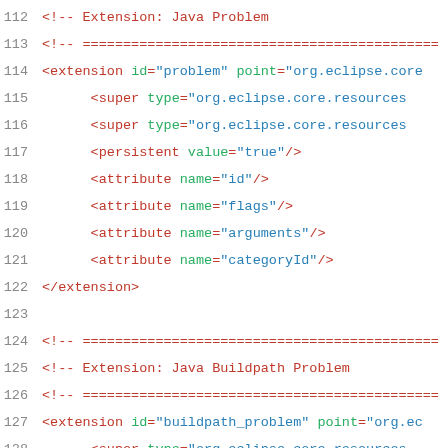112  <!-- Extension: Java Problem
113  <!-- ============================================
114  <extension id="problem" point="org.eclipse.core
115       <super type="org.eclipse.core.resources
116       <super type="org.eclipse.core.resources
117       <persistent value="true"/>
118       <attribute name="id"/>
119       <attribute name="flags"/>
120       <attribute name="arguments"/>
121       <attribute name="categoryId"/>
122  </extension>
123
124  <!-- ============================================
125  <!-- Extension: Java Buildpath Problem
126  <!-- ============================================
127  <extension id="buildpath_problem" point="org.ec
128       <super type="org.eclipse.core.resources
129       <super type="org.eclipse.core.resources
130       <persistent value="true"/>
131       <attribute name ="cycleDetected"/>
132       <attribute name="id"/>